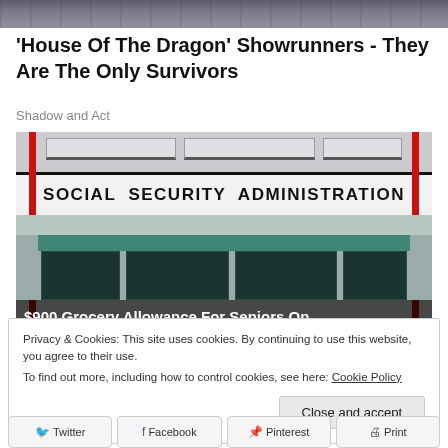[Figure (photo): Top portion of a photo showing what appears to be costumed figures, partially cropped]
'House Of The Dragon' Showrunners - They Are The Only Survivors
Shadow and Act
[Figure (photo): Photo of a Social Security Administration building exterior with large signage reading 'SOCIAL SECURITY ADMINISTRATION', glass doors, red posts, and an overlay banner reading '$900 Grocery Allowance For Seniors On']
Privacy & Cookies: This site uses cookies. By continuing to use this website, you agree to their use.
To find out more, including how to control cookies, see here: Cookie Policy
Close and accept
Twitter
Facebook
Pinterest
Print